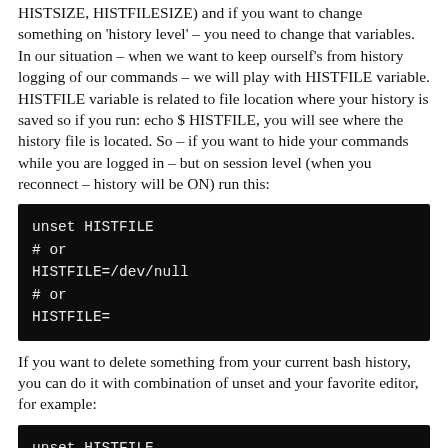HISTSIZE, HISTFILESIZE) and if you want to change something on 'history level' – you need to change that variables. In our situation – when we want to keep ourself's from history logging of our commands – we will play with HISTFILE variable. HISTFILE variable is related to file location where your history is saved so if you run: echo $ HISTFILE, you will see where the history file is located. So – if you want to hide your commands while you are logged in – but on session level (when you reconnect – history will be ON) run this:
[Figure (screenshot): Black terminal code block showing: unset HISTFILE / # or / HISTFILE=/dev/null / # or / HISTFILE=]
If you want to delete something from your current bash history, you can do it with combination of unset and your favorite editor, for example:
[Figure (screenshot): Black terminal code block showing: unset HISTFILE / vim .bash_history]
If you want to keep out your commands out of history always – just put unset in your .bash_profile file.